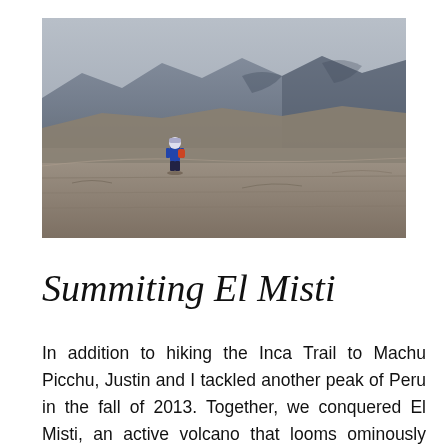[Figure (photo): A lone hiker in blue jacket and hat standing on a high-altitude ridge with dramatic rocky mountain terrain in the background under a grey sky.]
Summiting El Misti
In addition to hiking the Inca Trail to Machu Picchu, Justin and I tackled another peak of Peru in the fall of 2013. Together, we conquered El Misti, an active volcano that looms ominously large over Arequipa. Although the journey was not nearly as long as the Inca Trail, summiting